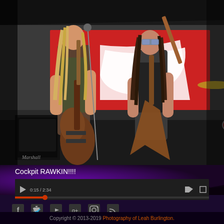[Figure (photo): Concert photo of two female guitarists performing on stage. Left guitarist has long blonde hair, plays a brown/mahogany electric guitar, wearing a military-style vest. Right guitarist has long dark hair, wearing goggles and a black outfit, playing a distinctive two-necked or unusual shaped guitar. A Marshall amp is visible bottom left. A red and white banner is in the background. Stage lights and drum kit visible.]
Cockpit RAWKIN!!!!
[Figure (screenshot): Video player bar with dark background]
[Figure (infographic): Social media icons row: Facebook, Twitter, YouTube, Google+, Instagram, RSS]
Copyright © 2013-2019 Photography of Leah Burlington.